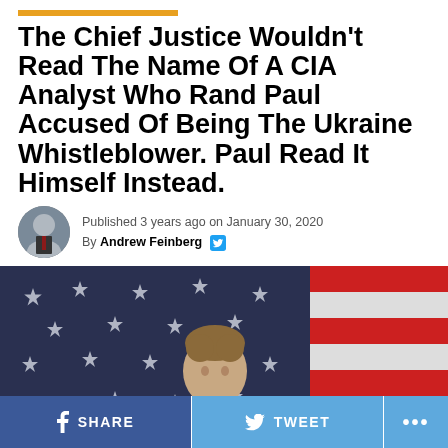The Chief Justice Wouldn't Read The Name Of A CIA Analyst Who Rand Paul Accused Of Being The Ukraine Whistleblower. Paul Read It Himself Instead.
Published 3 years ago on January 30, 2020
By Andrew Feinberg
[Figure (photo): Rand Paul speaking at a podium holding a microphone, with an American flag (stars and stripes) in the background]
SHARE   TWEET   ...